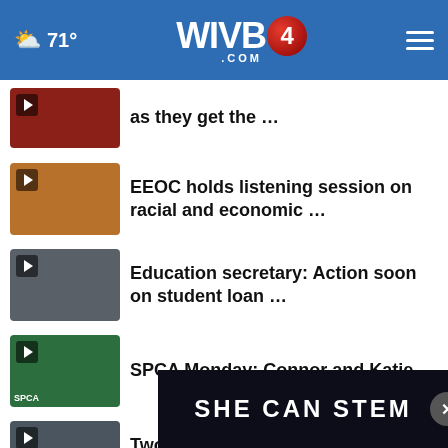71° WIVB4.COM
as they get the …
EEOC holds listening session on racial and economic …
Education secretary: Action soon on student loan …
SPCA Monday: Connor and Katie
Two Arkansas deputies, one officer suspended and …
New space telescope shows Jupiter's auroras, tiny…
teachers in Ohio's largest school …
[Figure (other): SHE CAN STEM advertisement banner]